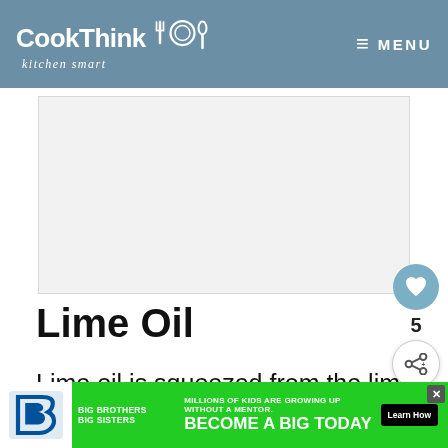CookThink kitchen smart MENU
[Figure (screenshot): Advertisement placeholder rectangle]
Lime Oil
Lime oil is squeezed from the lime and rind resulting in a strong flavored lime oil. Please note that
[Figure (infographic): What's Next widget showing 19+ Ketchup Substitute... with tomato soup image]
[Figure (screenshot): Big Brothers Big Sisters advertisement banner: MILLIONS OF KIDS ARE GROWING UP WITHOUT A MENTOR. BECOME A BIG TODAY. Learn How.]